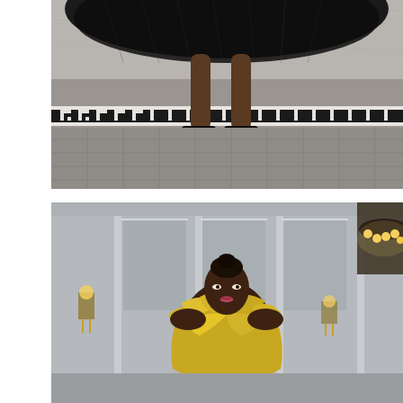[Figure (photo): Close-up fashion photo showing the lower half of a model wearing a voluminous black tulle skirt and black strappy high-heel platform sandals, standing on a decorative mosaic tile floor with a Greek key border pattern in a marble-walled interior.]
[Figure (photo): Fashion photo of a Black female model wearing a strapless yellow-gold satin ruffled gown with large bow detail at the bust. She stands in an elegant marble interior hallway with tall windows and ornate gold wall sconces and a chandelier with warm lights visible in the background.]